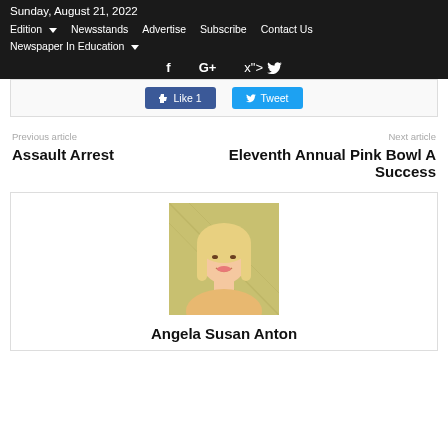Sunday, August 21, 2022
Edition  Newsstands  Advertise  Subscribe  Contact Us
Newspaper In Education
[Figure (screenshot): Social media share buttons: Like 1 and Tweet]
Previous article
Assault Arrest
Next article
Eleventh Annual Pink Bowl A Success
[Figure (photo): Headshot photo of Angela Susan Anton, a blonde woman smiling]
Angela Susan Anton